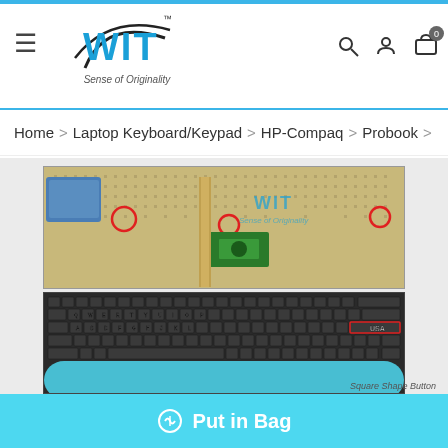[Figure (logo): WIT logo with 'Sense of Originality' tagline and navigation icons (hamburger menu, search, user, cart with 0 badge)]
Home > Laptop Keyboard/Keypad > HP-Compaq > Probook >
[Figure (photo): Product photo showing back of HP laptop keyboard with mounting holes and red circle markers, and front view of keyboard with USA layout label highlighted in red rectangle]
Square Shape Button
Put in Bag